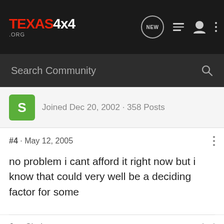TEXAS4x4.ORG — navigation bar with NEW, list, user, and menu icons
Search Community
Joined Dec 20, 2002 · 358 Posts
#4 · May 12, 2005
no problem i cant afford it right now but i know that could very well be a deciding factor for some
Joe Clark
210-639-0276